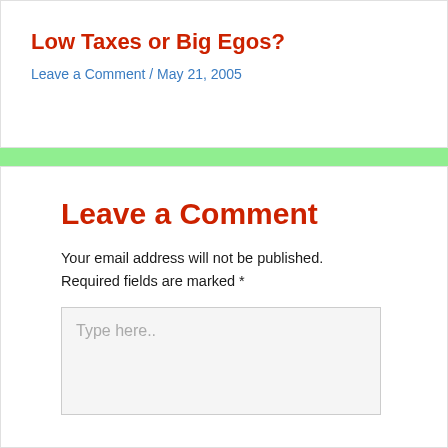Low Taxes or Big Egos?
Leave a Comment / May 21, 2005
Leave a Comment
Your email address will not be published.
Required fields are marked *
Type here..